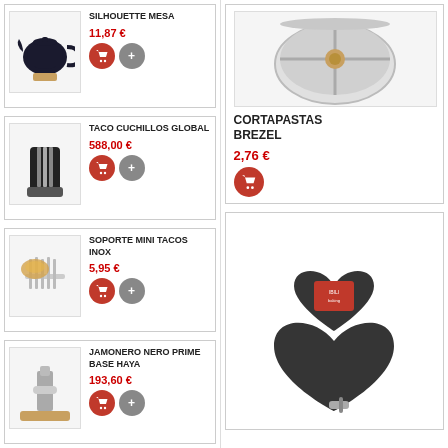[Figure (photo): Black teapot silhouette chalkboard on wooden stand]
SILHOUETTE MESA
11,87 €
[Figure (photo): Knife block TACO CUCHILLOS GLOBAL - black and silver knife holder]
TACO CUCHILLOS GLOBAL
588,00 €
[Figure (photo): Mini taco holder rack in stainless steel with tacos]
SOPORTE MINI TACOS INOX
5,95 €
[Figure (photo): Ham holder JAMONERO NERO PRIME BASE HAYA on wooden base]
JAMONERO NERO PRIME BASE HAYA
193,60 €
[Figure (photo): Round stainless steel ashtray CORTAPASTAS BREZEL with sections]
CORTAPASTAS BREZEL
2,76 €
[Figure (photo): Heart-shaped dark springform cake pan set]